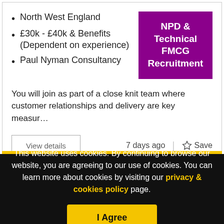North West England
£30k - £40k & Benefits (Dependent on experience)
Paul Nyman Consultancy
[Figure (logo): Purple box with white bold text: NPD & Technical FMCG Recruitment]
You will join as part of a close knit team where customer relationships and delivery are key measur…
View details   7 days ago  |  ☆ Save
This website uses cookies. By continuing to browse our website, you are agreeing to our use of cookies. You can learn more about cookies by visiting our privacy & cookies policy page.
I Agree